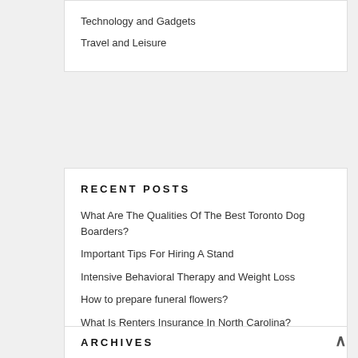Technology and Gadgets
Travel and Leisure
RECENT POSTS
What Are The Qualities Of The Best Toronto Dog Boarders?
Important Tips For Hiring A Stand
Intensive Behavioral Therapy and Weight Loss
How to prepare funeral flowers?
What Is Renters Insurance In North Carolina?
ARCHIVES